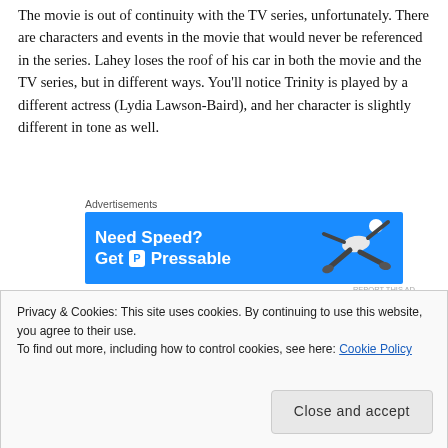The movie is out of continuity with the TV series, unfortunately. There are characters and events in the movie that would never be referenced in the series. Lahey loses the roof of his car in both the movie and the TV series, but in different ways. You'll notice Trinity is played by a different actress (Lydia Lawson-Baird), and her character is slightly different in tone as well.
[Figure (other): Web advertisement banner with blue background showing 'Need Speed? Get Pressable' text with a flying person silhouette.]
Remember those movie trailers where the Boys are auditioning actors to play themselves? I think it's best to think of this movie in that context: It's the Boys playing themselves, in a movie based on
Privacy & Cookies: This site uses cookies. By continuing to use this website, you agree to their use.
To find out more, including how to control cookies, see here: Cookie Policy
Close and accept